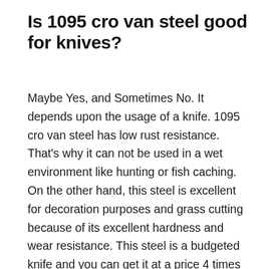Is 1095 cro van steel good for knives?
Maybe Yes, and Sometimes No. It depends upon the usage of a knife. 1095 cro van steel has low rust resistance. That's why it can not be used in a wet environment like hunting or fish caching. On the other hand, this steel is excellent for decoration purposes and grass cutting because of its excellent hardness and wear resistance. This steel is a budgeted knife and you can get it at a price 4 times less than that of stainless steel